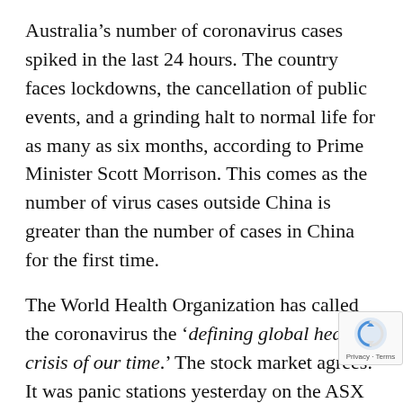Australia's number of coronavirus cases spiked in the last 24 hours. The country faces lockdowns, the cancellation of public events, and a grinding halt to normal life for as many as six months, according to Prime Minister Scott Morrison. This comes as the number of virus cases outside China is greater than the number of cases in China for the first time.
The World Health Organization has called the coronavirus the 'defining global health crisis of our time.' The stock market agrees. It was panic stations yesterday on the ASX 200. Australia's benchmark index had its biggest fall in 33 years, plunging 9.7%.
The index is hovering just above 5,000 points. It's not the reaction the Federal Reserve was hoping for when it slashed US interest rates a full 1%, all the way...